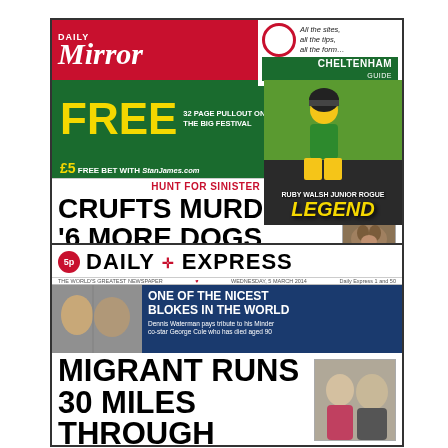[Figure (photo): Daily Mirror front page: showing 'CRUFTS MURDER: 6 MORE DOGS POISONED' as main headline with Cheltenham racing pull-out promotion]
[Figure (photo): Daily Express front page: showing 'MIGRANT RUNS 30 MILES THROUGH CHUNNEL' as main headline and tribute to George Cole]